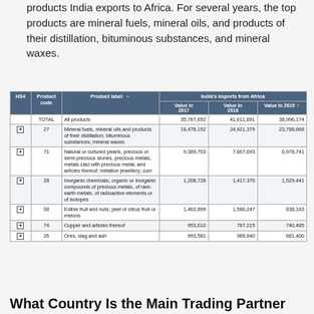products India exports to Africa. For several years, the top products are mineral fuels, mineral oils, and products of their distillation, bituminous substances, and mineral waxes.
| HS4 | Product code | Product label | Value in 2017 | Value in 2018 | Value in 2019 |
| --- | --- | --- | --- | --- | --- |
|  | TOTAL | All products | 35,767,652 | 41,611,891 | 38,996,174 |
| + | 27 | Mineral fuels, mineral oils and products of their distillation; bituminous substances; mineral waxes | 18,478,152 | 24,921,379 | 23,788,668 |
| + | 71 | Natural or cultured pearls, precious or semi-precious stones, precious metals, metals clad with precious metal, and articles thereof; imitation jewellery; coin | 9,389,703 | 7,667,693 | 6,978,741 |
| + | 28 | Inorganic chemicals; organic or inorganic compounds of precious metals, of rare-earth metals, of radioactive elements or of isotopes | 1,208,728 | 1,417,370 | 1,529,441 |
| + | 08 | Edible fruit and nuts; peel of citrus fruit or melons | 1,462,899 | 1,580,247 | 838,183 |
| + | 74 | Copper and articles thereof | 953,610 | 787,215 | 740,485 |
| + | 26 | Ores, slag and ash | 993,581 | 989,840 | 681,400 |
What Country Is the Main Trading Partner